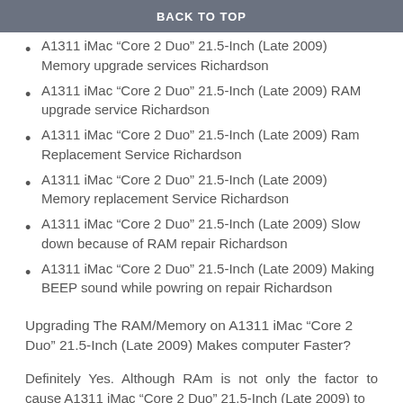BACK TO TOP
A1311 iMac “Core 2 Duo” 21.5-Inch (Late 2009) Memory upgrade services Richardson
A1311 iMac “Core 2 Duo” 21.5-Inch (Late 2009) RAM upgrade service Richardson
A1311 iMac “Core 2 Duo” 21.5-Inch (Late 2009) Ram Replacement Service Richardson
A1311 iMac “Core 2 Duo” 21.5-Inch (Late 2009) Memory replacement Service Richardson
A1311 iMac “Core 2 Duo” 21.5-Inch (Late 2009) Slow down because of RAM repair Richardson
A1311 iMac “Core 2 Duo” 21.5-Inch (Late 2009) Making BEEP sound while powring on repair Richardson
Upgrading The RAM/Memory on A1311 iMac “Core 2 Duo” 21.5-Inch (Late 2009) Makes computer Faster?
Definitely Yes. Although RAm is not only the factor to cause A1311 iMac “Core 2 Duo” 21.5-Inch (Late 2009) to